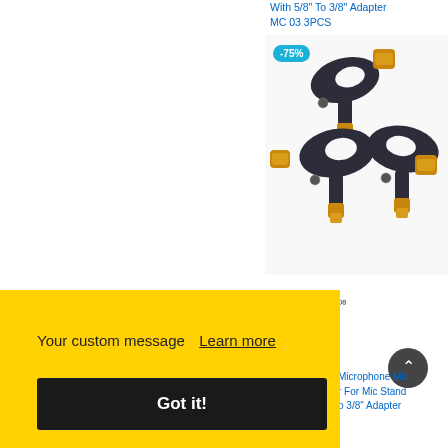With 5/8" To 3/8" Adapter MC 03 3PCS
[Figure (photo): Three black microphone clip holders with gold-colored 5/8" to 3/8" thread adapters, shown with a -75% discount badge]
Your custom message  Learn more
Got it!
Microphone Mic r For Mic Stand o 3/8" Adapter
MC 04 2PCS
MC 04 3PCS